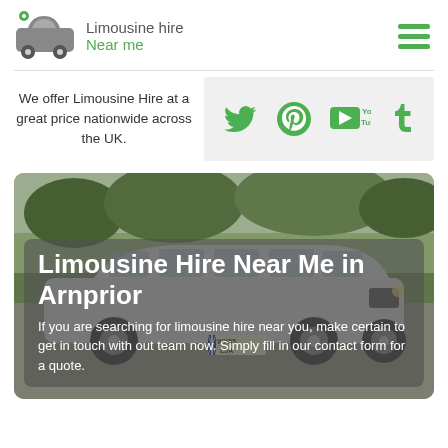[Figure (logo): Limousine Hire Near Me logo with grey car icon and green/grey text]
We offer Limousine Hire at a great price nationwide across the UK.
[Figure (infographic): Social media icons: Twitter, Pinterest, YouTube, Tumblr on grey background]
[Figure (photo): Photo of a white stretch limousine in a car park with trees in background]
Limousine Hire Near Me in Arnprior
If you are searching for limousine hire near you, make certain to get in touch with out team now. Simply fill in our contact form for a quote.